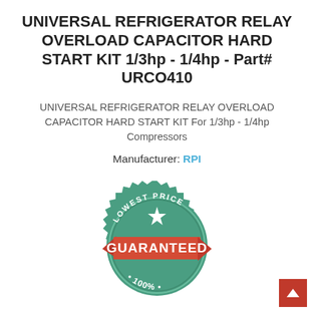UNIVERSAL REFRIGERATOR RELAY OVERLOAD CAPACITOR HARD START KIT 1/3hp - 1/4hp - Part# URCO410
UNIVERSAL REFRIGERATOR RELAY OVERLOAD CAPACITOR HARD START KIT For 1/3hp - 1/4hp Compressors
Manufacturer: RPI
[Figure (illustration): Circular green badge with zigzag edge reading 'LOWEST PRICE' at the top with a star, and a red ribbon banner across the middle reading 'GUARANTEED' in white bold text, with '100%' and decorative dots at the bottom.]
$10.61